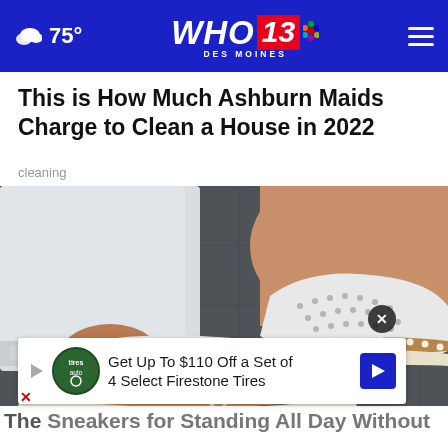75° WHO 13 DES MOINES
This is How Much Ashburn Maids Charge to Clean a House in 2022
cleaning
[Figure (photo): Close-up photo of a person wearing white slip-on sneakers with perforated fabric and brown/tan soles with pearl-like trim, wearing white cuffed jeans, standing on dark pavement.]
Get Up To $110 Off a Set of 4 Select Firestone Tires
The Sneakers for Standing All Day Without